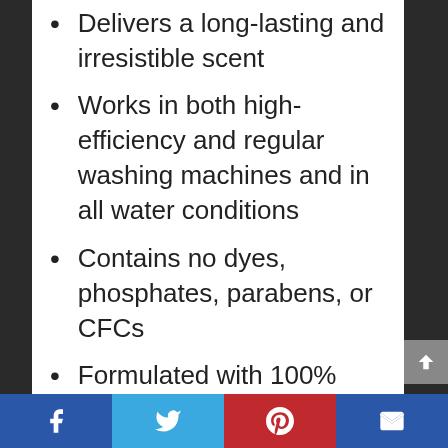Delivers a long-lasting and irresistible scent
Works in both high-efficiency and regular washing machines and in all water conditions
Contains no dyes, phosphates, parabens, or CFCs
Formulated with 100% renewable wind power electricity
Description
Soothe your senses with GAIN new,